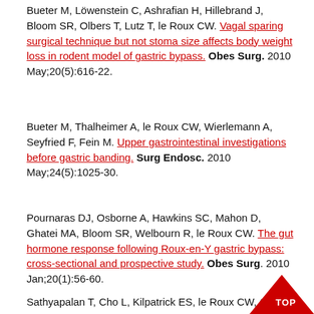Bueter M, Löwenstein C, Ashrafian H, Hillebrand J, Bloom SR, Olbers T, Lutz T, le Roux CW. Vagal sparing surgical technique but not stoma size affects body weight loss in rodent model of gastric bypass. Obes Surg. 2010 May;20(5):616-22.
Bueter M, Thalheimer A, le Roux CW, Wierlemann A, Seyfried F, Fein M. Upper gastrointestinal investigations before gastric banding. Surg Endosc. 2010 May;24(5):1025-30.
Pournaras DJ, Osborne A, Hawkins SC, Mahon D, Ghatei MA, Bloom SR, Welbourn R, le Roux CW. The gut hormone response following Roux-en-Y gastric bypass: cross-sectional and prospective study. Obes Surg. 2010 Jan;20(1):56-60.
Sathyapalan T, Cho L, Kilpatrick ES, le Roux CW, Coad...